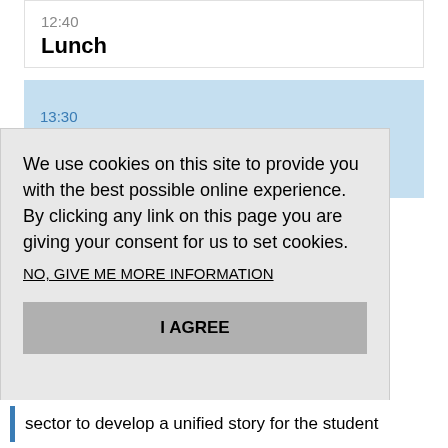12:40
Lunch
13:30
We use cookies on this site to provide you with the best possible online experience. By clicking any link on this page you are giving your consent for us to set cookies.
NO, GIVE ME MORE INFORMATION
I AGREE
sector to develop a unified story for the student